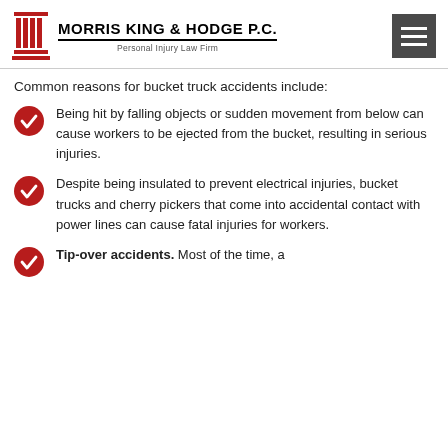[Figure (logo): Morris King & Hodge P.C. Personal Injury Law Firm logo with red column icon]
Common reasons for bucket truck accidents include:
Being hit by falling objects or sudden movement from below can cause workers to be ejected from the bucket, resulting in serious injuries.
Despite being insulated to prevent electrical injuries, bucket trucks and cherry pickers that come into accidental contact with power lines can cause fatal injuries for workers.
Tip-over accidents. Most of the time, a